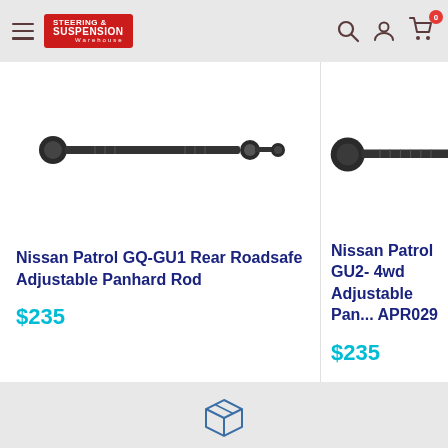[Figure (logo): Steering & Suspension Warehouse logo - red background with white text]
[Figure (photo): Nissan Patrol GQ-GU1 Rear Roadsafe Adjustable Panhard Rod product photo - black metal rod]
Nissan Patrol GQ-GU1 Rear Roadsafe Adjustable Panhard Rod
$235
[Figure (photo): Nissan Patrol GU2- 4wd Adjustable Panhard Rod APR029 product photo - partial view]
Nissan Patrol GU2- 4wd Adjustable Pan... APR029
$235
[Figure (illustration): Box/package delivery icon in blue outline style]
Free delivery Australia wide